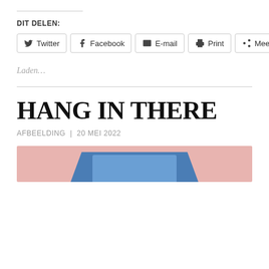DIT DELEN:
[Figure (screenshot): Social share buttons: Twitter, Facebook, E-mail, Print, Meer]
Laden...
HANG IN THERE
AFBEELDING  |  20 MEI 2022
[Figure (illustration): Partial image showing pink background with blue trapezoidal shape at bottom]